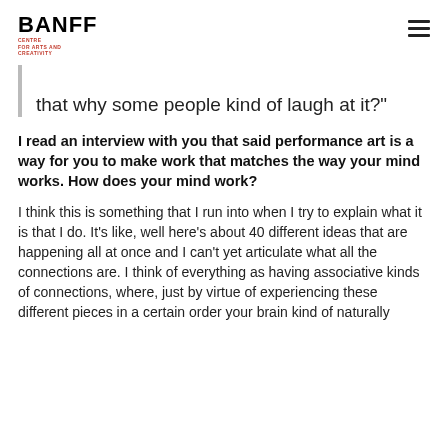BANFF CENTRE FOR ARTS AND CREATIVITY
that why some people kind of laugh at it?"
I read an interview with you that said performance art is a way for you to make work that matches the way your mind works. How does your mind work?
I think this is something that I run into when I try to explain what it is that I do. It's like, well here's about 40 different ideas that are happening all at once and I can't yet articulate what all the connections are. I think of everything as having associative kinds of connections, where, just by virtue of experiencing these different pieces in a certain order your brain kind of naturally